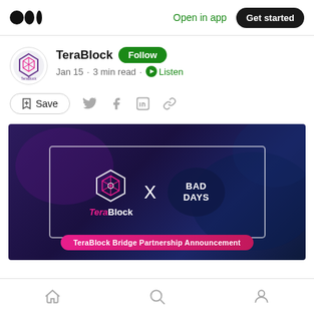Medium app header with logo, Open in app, Get started
TeraBlock · Follow · Jan 15 · 3 min read · Listen
Save (with social share icons: Twitter, Facebook, LinkedIn, Link)
[Figure (screenshot): TeraBlock x Bad Days partnership announcement banner on dark purple/navy background. Shows TeraBlock logo and text on left, X in center, Bad Days logo on right, inside a white-bordered rectangle. Pink bar at bottom reads: TeraBlock Bridge Partnership Announcement]
Bottom navigation: Home, Search, Profile